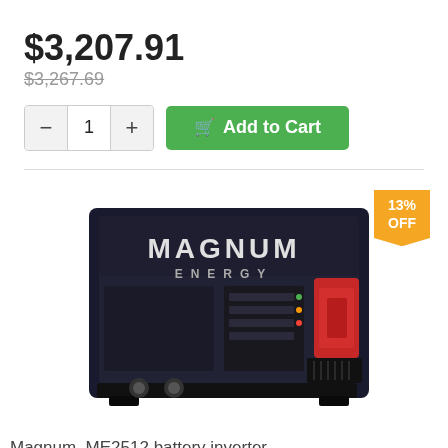$3,207.91
$3,267.69
[Figure (screenshot): Quantity selector with minus button, value 1, plus button, and a green Add to Cart button with cart icon]
[Figure (photo): Magnum Energy ME2512 battery inverter unit, black box with Magnum Energy branding, red terminal connector on right side, with 13% OFF badge in orange]
Magnum, ME2512 battery inverter,